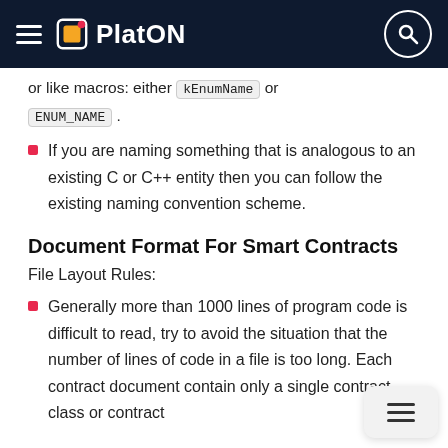PlatON
or like macros: either kEnumName or ENUM_NAME.
If you are naming something that is analogous to an existing C or C++ entity then you can follow the existing naming convention scheme.
Document Format For Smart Contracts
File Layout Rules:
Generally more than 1000 lines of program code is difficult to read, try to avoid the situation that the number of lines of code in a file is too long. Each contract document contain only a single contract class or contract interface.